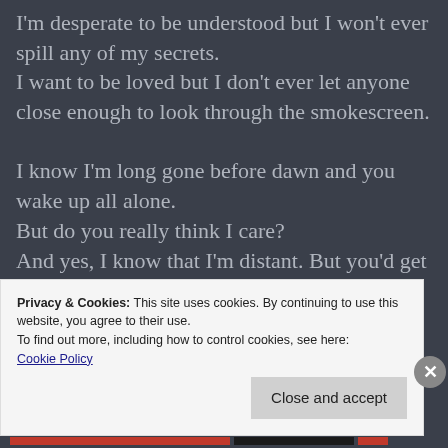I'm desperate to be understood but I won't ever spill any of my secrets.
I want to be loved but I don't ever let anyone close enough to look through the smokescreen.

I know I'm long gone before dawn and you wake up all alone.
But do you really think I care?
And yes, I know that I'm distant. But you'd get lost in a minute if I let you in my head.
Privacy & Cookies: This site uses cookies. By continuing to use this website, you agree to their use.
To find out more, including how to control cookies, see here: Cookie Policy
Close and accept